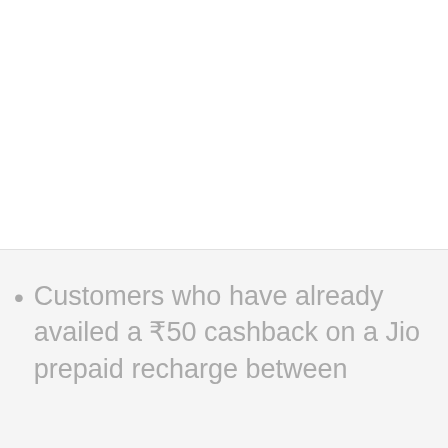[Figure (screenshot): Gray square scroll-to-top button with an upward-pointing chevron arrow icon]
[Figure (other): White circular close button with an × symbol]
Customers who have already availed a ₹50 cashback on a Jio prepaid recharge between